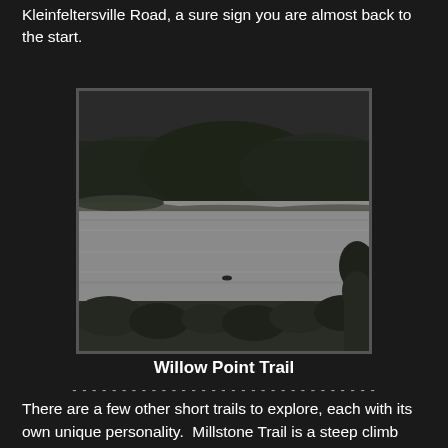Kleinfeltersville Road, a sure sign you are almost back to the start.
[Figure (photo): Black and white photograph of a large reservoir with dark forested hills in the background and shrubby vegetation in the foreground. A small bird or object is visible on the water surface.]
Willow Point Trail
There are a few other short trails to explore, each with its own unique personality.  Millstone Trail is a steep climb straight up the mountain with a grand view as a reward at the top.  Across the road is Deer Path Trail, a short walk along the edge of the bank of the large reservoir.  On the road toward Kleinfeltersville is a nice wide paved trail called Willow Point Trail.  This wheelchair accessible trail takes you